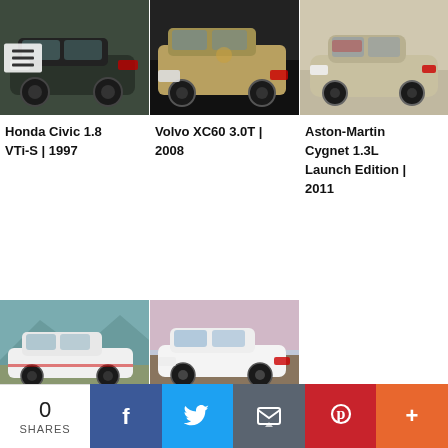[Figure (photo): Honda Civic 1.8 VTi-S parked on street, dark color, with hamburger menu icon overlay]
Honda Civic 1.8 VTi-S | 1997
[Figure (photo): Volvo XC60 3.0T SUV, gold/champagne color, front 3/4 view]
Volvo XC60 3.0T | 2008
[Figure (photo): Aston-Martin Cygnet 1.3L Launch Edition, silver/gold, side profile]
Aston-Martin Cygnet 1.3L Launch Edition | 2011
[Figure (photo): Peugeot 106 Rallye white hatchback with mountain background]
Peugeot 106 Rallye | 1994
[Figure (photo): Suzuki Swift 1.6 VVT Sport white hatchback on dirt road]
Suzuki Swift 1.6 VVT Sport | 2005
0 SHARES  [Facebook] [Twitter] [Email] [Pinterest] [More]